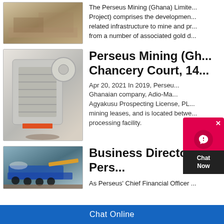[Figure (photo): Aerial/ground view of a mining site with sandy terrain and equipment]
The Perseus Mining (Ghana) Limite... Project) comprises the developmen... related infrastructure to mine and pr... from a number of associated gold d...
[Figure (photo): Industrial jaw crusher machine at a mining site]
Perseus Mining (Gh... Chancery Court, 14...
Apr 20, 2021 In 2019, Perseu... Ghanaian company, Adio-Ma... Agyakusu Prospecting License, PL... mining leases, and is located betwe... processing facility.
[Figure (photo): Mobile mining/processing equipment with blue machinery and conveyor]
Business Directory Pers...
As Perseus' Chief Financial Officer ...
Chat Online